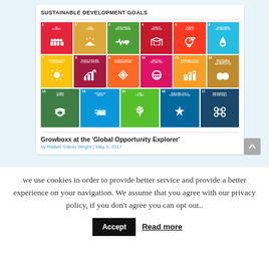[Figure (screenshot): Screenshot of UN Sustainable Development Goals colorful icon grid (17 goals), followed by article header 'Growboxx at the Global Opportunity Explorer' by Rafael Toledo Wright, May 9 2017]
Growboxx at the ‘Global Opportunity Explorer’
by Rafael Toledo Wright | May 9, 2017
we use cookies in order to provide better service and provide a better experience on your navigation. We assume that you agree with our privacy policy, if you don't agree you can opt out..